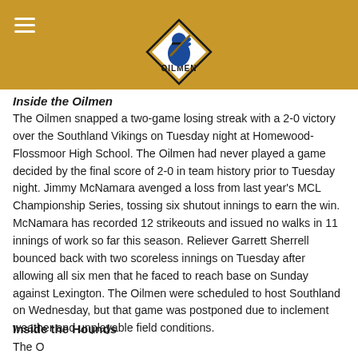Oilmen logo and navigation header
Inside the Oilmen
The Oilmen snapped a two-game losing streak with a 2-0 victory over the Southland Vikings on Tuesday night at Homewood-Flossmoor High School. The Oilmen had never played a game decided by the final score of 2-0 in team history prior to Tuesday night. Jimmy McNamara avenged a loss from last year's MCL Championship Series, tossing six shutout innings to earn the win. McNamara has recorded 12 strikeouts and issued no walks in 11 innings of work so far this season. Reliever Garrett Sherrell bounced back with two scoreless innings on Tuesday after allowing all six men that he faced to reach base on Sunday against Lexington. The Oilmen were scheduled to host Southland on Wednesday, but that game was postponed due to inclement weather and unplayable field conditions.
Inside the Hounds
The Oilmen...